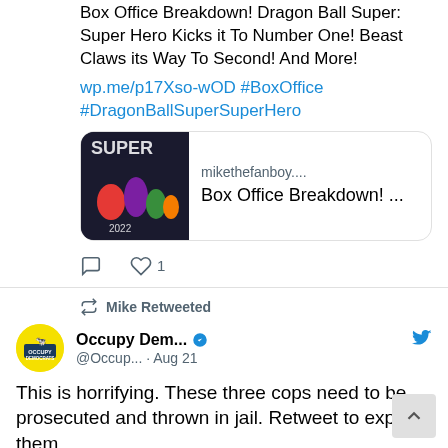Box Office Breakdown! Dragon Ball Super: Super Hero Kicks it To Number One! Beast Claws its Way To Second! And More!
wp.me/p17Xso-wOD #BoxOffice #DragonBallSuperSuperHero
[Figure (screenshot): Link card showing Dragon Ball Super: Super Hero anime movie poster with mikethefanboy.... and Box Office Breakdown! ...]
Comment 0, Like 1
Mike Retweeted
Occupy Dem... @Occup... · Aug 21
This is horrifying. These three cops need to be prosecuted and thrown in jail. Retweet to expose them.